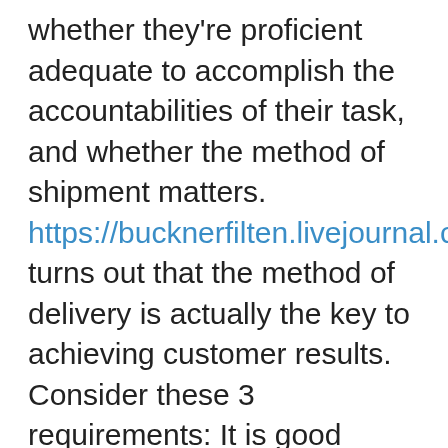whether they're proficient adequate to accomplish the accountabilities of their task, and whether the method of shipment matters. https://bucknerfilten.livejournal.com/profile turns out that the method of delivery is actually the key to achieving customer results. Consider these 3 requirements: It is good enough to represent your crew and profession to various other health care practitioners and the general public You might be actually an enrolled nurse and question if